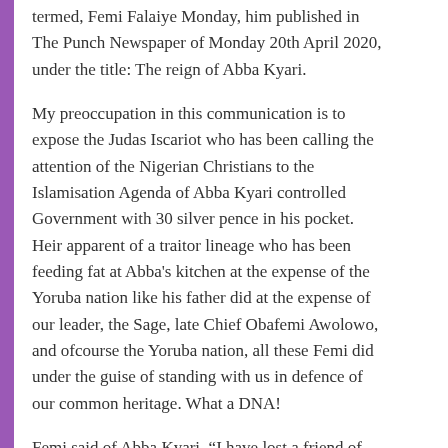termed, Femi Falaiye Monday, him published in The Punch Newspaper of Monday 20th April 2020, under the title: The reign of Abba Kyari.
My preoccupation in this communication is to expose the Judas Iscariot who has been calling the attention of the Nigerian Christians to the Islamisation Agenda of Abba Kyari controlled Government with 30 silver pence in his pocket. Heir apparent of a traitor lineage who has been feeding fat at Abba's kitchen at the expense of the Yoruba nation like his father did at the expense of our leader, the Sage, late Chief Obafemi Awolowo, and ofcourse the Yoruba nation, all these Femi did under the guise of standing with us in defence of our common heritage. What a DNA!
Femi said of Abba Kyari, "I have lost a friend of forty years, a man of honour, a good man, a loyal friend. We